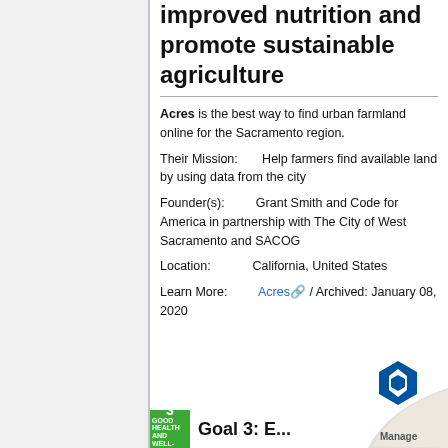improved nutrition and promote sustainable agriculture
Acres is the best way to find urban farmland online for the Sacramento region.
Their Mission:      Help farmers find available land by using data from the city
Founder(s):         Grant Smith and Code for America in partnership with The City of West Sacramento and SACOG
Location:           California, United States
Learn More:         Acres / Archived: January 08, 2020
Goal 3: E...